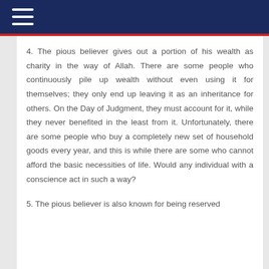4. The pious believer gives out a portion of his wealth as charity in the way of Allah. There are some people who continuously pile up wealth without even using it for themselves; they only end up leaving it as an inheritance for others. On the Day of Judgment, they must account for it, while they never benefited in the least from it. Unfortunately, there are some people who buy a completely new set of household goods every year, and this is while there are some who cannot afford the basic necessities of life. Would any individual with a conscience act in such a way?
5. The pious believer is also known for being reserved